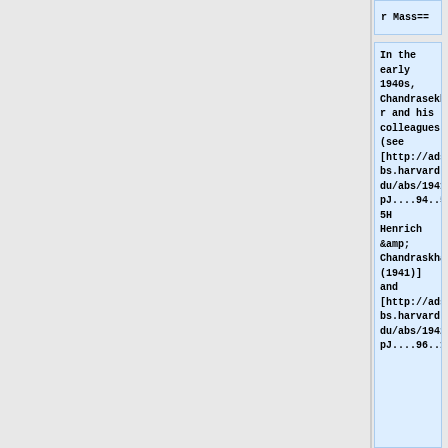r Mass==
In the early 1940s, Chandrasekhar and his colleagues (see [http://adsabs.harvard.edu/abs/1941ApJ....94..525H Henrich &amp; Chandraskhar (1941)] and [http://adsabs.harvard.edu/abs/1942ApJ....96..16